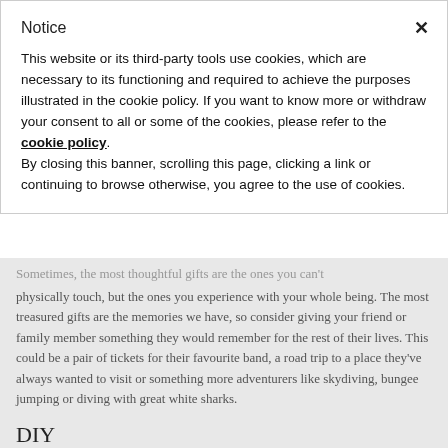Notice
This website or its third-party tools use cookies, which are necessary to its functioning and required to achieve the purposes illustrated in the cookie policy. If you want to know more or withdraw your consent to all or some of the cookies, please refer to the cookie policy.
By closing this banner, scrolling this page, clicking a link or continuing to browse otherwise, you agree to the use of cookies.
Sometimes, the most thoughtful gifts are the ones you can't physically touch, but the ones you experience with your whole being. The most treasured gifts are the memories we have, so consider giving your friend or family member something they would remember for the rest of their lives. This could be a pair of tickets for their favourite band, a road trip to a place they've always wanted to visit or something more adventurers like skydiving, bungee jumping or diving with great white sharks.
DIY
If you still haven't found the right fit or you're having trouble with the financial aspect of the gift, here's one more idea to give that gift...